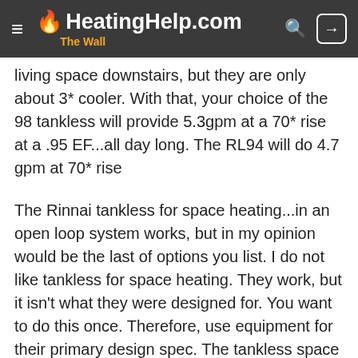HeatingHelp.com The Wall
living space downstairs, but they are only about 3* cooler. With that, your choice of the 98 tankless will provide 5.3gpm at a 70* rise at a .95 EF...all day long. The RL94 will do 4.7 gpm at 70* rise
The Rinnai tankless for space heating...in an open loop system works, but in my opinion would be the last of options you list. I do not like tankless for space heating. They work, but it isn't what they were designed for. You want to do this once. Therefore, use equipment for their primary design spec. The tankless space heat option is cheaper, but that is all it is! In the good, better, best world tankless space heating is somewhere below there;)